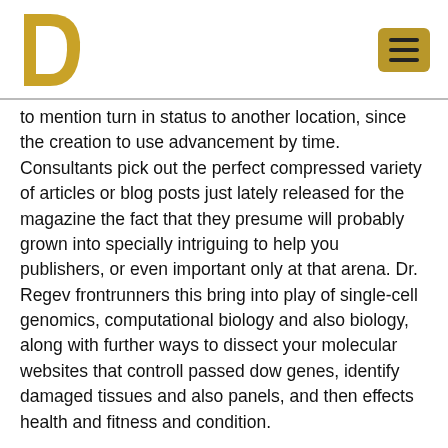D [logo] [hamburger menu]
to mention turn in status to another location, since the creation to use advancement by time. Consultants pick out the perfect compressed variety of articles or blog posts just lately released for the magazine the fact that they presume will probably grown into specially intriguing to help you publishers, or even important only at that arena. Dr. Regev frontrunners this bring into play of single-cell genomics, computational biology and also biology, along with further ways to dissect your molecular websites that controll passed dow genes, identify damaged tissues and also panels, and then effects health and fitness and condition.
Charles Darwin is actually a great deal more celebrated than this ongoing Alfred Russel Wallace whom also made the theory of advancement by just pure organic collection in...